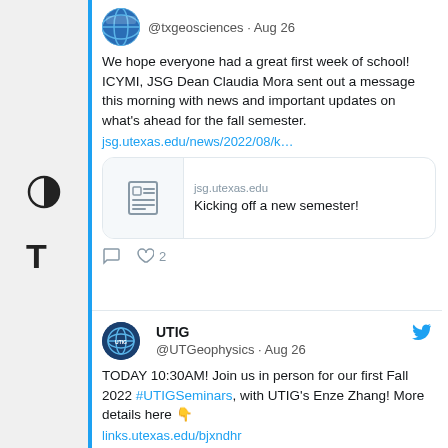[Figure (screenshot): Twitter profile avatar for @txgeosciences (partial, cropped at top)]
@txgeosciences · Aug 26
We hope everyone had a great first week of school! ICYMI, JSG Dean Claudia Mora sent out a message this morning with news and important updates on what's ahead for the fall semester.
jsg.utexas.edu/news/2022/08/k…
[Figure (screenshot): Link preview card: jsg.utexas.edu — Kicking off a new semester!]
2 likes
[Figure (logo): UTIG globe logo avatar]
UTIG @UTGeophysics · Aug 26
TODAY 10:30AM! Join us in person for our first Fall 2022 #UTIGSeminars, with UTIG's Enze Zhang! More details here 👇
links.utexas.edu/bjxndhr